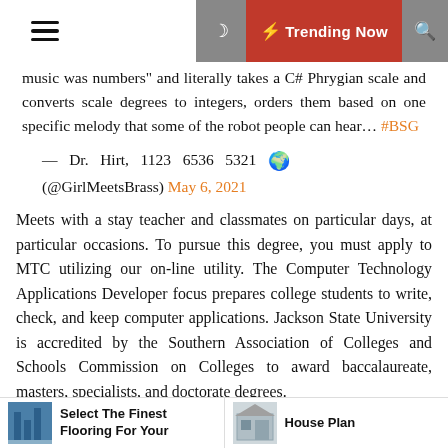☰  🌙  ⚡ Trending Now  🔍
music was numbers" and literally takes a C# Phrygian scale and converts scale degrees to integers, orders them based on one specific melody that some of the robot people can hear... #BSG
— Dr. Hirt, 1123 6536 5321 🌍 (@GirlMeetsBrass) May 6, 2021
Meets with a stay teacher and classmates on particular days, at particular occasions. To pursue this degree, you must apply to MTC utilizing our on-line utility. The Computer Technology Applications Developer focus prepares college students to write, check, and keep computer applications. Jackson State University is accredited by the Southern Association of Colleges and Schools Commission on Colleges to award baccalaureate, masters, specialists, and doctorate degrees.
Select The Finest Flooring For Your | House Plan